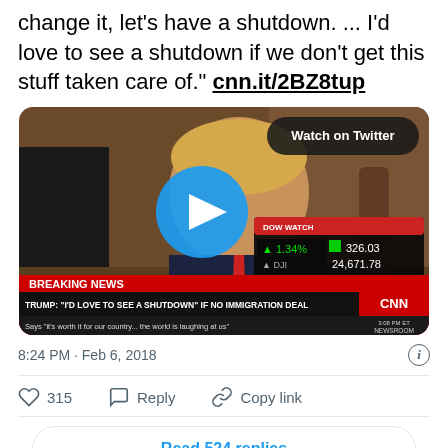change it, let's have a shutdown. ... I'd love to see a shutdown if we don't get this stuff taken care of." cnn.it/2BZ8tup
[Figure (screenshot): CNN news video thumbnail showing a man at a meeting table, with a large blue play button overlay, 'Watch on Twitter' button in top right, DOW WATCH ticker showing 1.34% DJI 326.03 24,671.78, BREAKING NEWS chyron: TRUMP: "I'D LOVE TO SEE A SHUTDOWN" IF NO IMMIGRATION DEAL, Says "it's worth it for our country... the world is laughing at us", CNN logo, 3:08 PM ET, NEWSROOM]
8:24 PM · Feb 6, 2018
315  Reply  Copy link
Read 524 replies